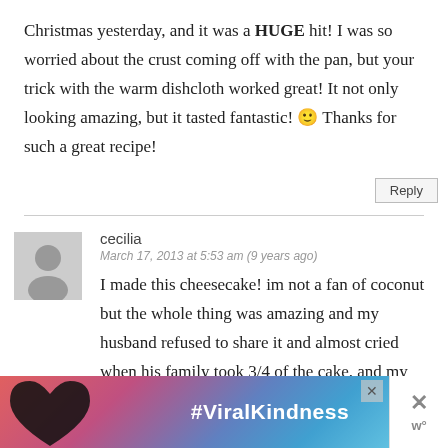Christmas yesterday, and it was a HUGE hit! I was so worried about the crust coming off with the pan, but your trick with the warm dishcloth worked great! It not only looking amazing, but it tasted fantastic! 🙂 Thanks for such a great recipe!
Reply
cecilia
March 17, 2013 at 5:53 am (9 years ago)
I made this cheesecake! im not a fan of coconut but the whole thing was amazing and my husband refused to share it and almost cried when his family took 3/4 of the cake. and my father in law sticks to his diet and couldn't keep his hands off the cheesecake. thank you
[Figure (infographic): #ViralKindness advertisement banner with heart hands silhouette against colorful background]